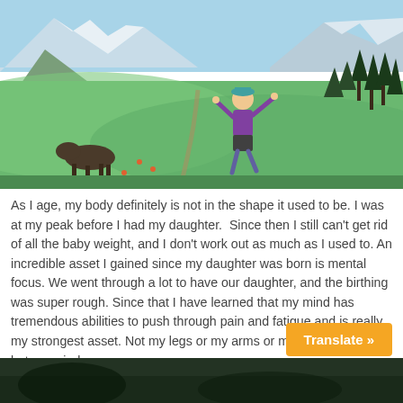[Figure (photo): Woman in purple shirt and teal cap posing with arms raised on a mountain trail with green alpine meadows, snow-capped peaks in background and a dog nearby]
As I age, my body definitely is not in the shape it used to be. I was at my peak before I had my daughter.  Since then I still can't get rid of all the baby weight, and I don't work out as much as I used to. An incredible asset I gained since my daughter was born is mental focus. We went through a lot to have our daughter, and the birthing was super rough. Since that I have learned that my mind has tremendous abilities to push through pain and fatigue and is really my strongest asset. Not my legs or my arms or my cardio ability, but my mind.
[Figure (photo): Dark outdoor scene partially visible at the bottom of the page]